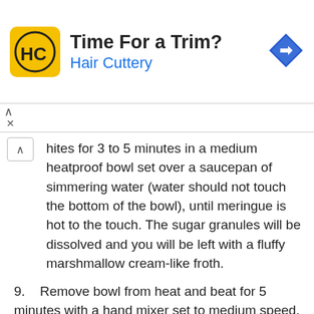[Figure (other): Hair Cuttery advertisement banner with yellow logo showing HC initials, text 'Time For a Trim? Hair Cuttery', and a blue diamond arrow icon on the right]
hites for 3 to 5 minutes in a medium heatproof bowl set over a saucepan of simmering water (water should not touch the bottom of the bowl), until meringue is hot to the touch. The sugar granules will be dissolved and you will be left with a fluffy marshmallow cream-like froth.
9.   Remove bowl from heat and beat for 5 minutes with a hand mixer set to medium speed, or pour into a bowl of a stand mixer with a whisk attachment to mix.
10.  Add half of the butter and beat with a hand mixer (or paddle attachment for stand mixer) until smooth before adding the next half to combine. Scrape the sides of the bowl with a spatula and